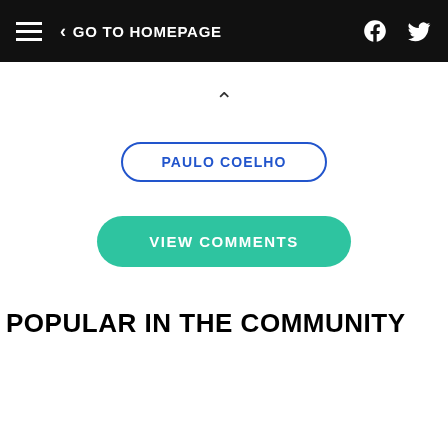GO TO HOMEPAGE
PAULO COELHO
VIEW COMMENTS
POPULAR IN THE COMMUNITY